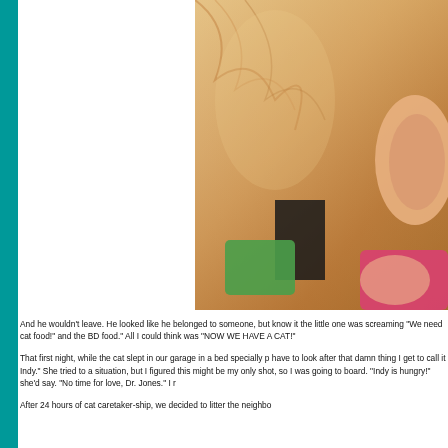[Figure (photo): Close-up photo of an orange/ginger cat being held or petted by a person. The cat's fur fills most of the frame with an ear visible and colorful fabric (green and pink) in the background.]
And he wouldn't leave. He looked like he belonged to someone, but know it the little one was screaming "We need cat food!" and the BD food." All I could think was "NOW WE HAVE A CAT!"
That first night, while the cat slept in our garage in a bed specially p have to look after that damn thing I get to call it Indy." She tried to a situation, but I figured this might be my only shot, so I was going to board. "Indy is hungry!" she'd say. "No time for love, Dr. Jones." I r
After 24 hours of cat caretaker-ship, we decided to litter the neighbo